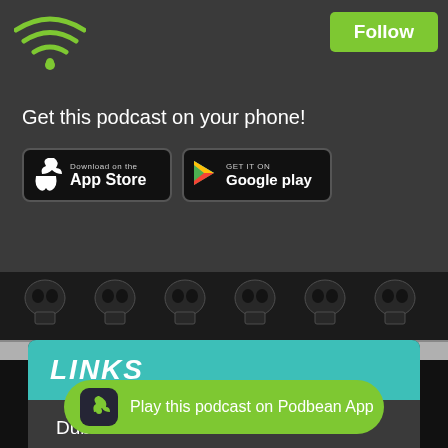[Figure (logo): Green WiFi signal icon (Podbean app icon)]
Follow
Get this podcast on your phone!
[Figure (screenshot): Download on the App Store badge]
[Figure (screenshot): GET IT ON Google play badge]
[Figure (illustration): Black and white skull artwork strip]
LINKS
Dubmatix
Mixcloud
Facebook
Tunein
Play this podcast on Podbean App